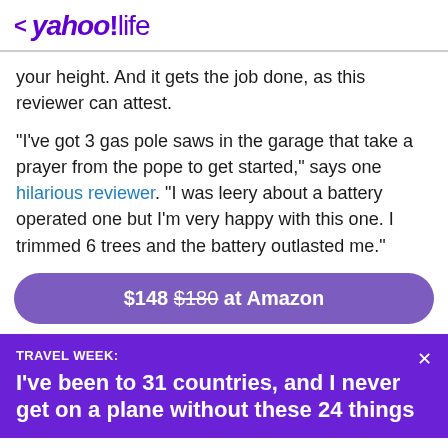< yahoo!life
your height. And it gets the job done, as this reviewer can attest.
"I've got 3 gas pole saws in the garage that take a prayer from the pope to get started," says one hilarious reviewer. "I was leery about a battery operated one but I'm very happy with this one. I trimmed 6 trees and the battery outlasted me."
$148 $180 at Amazon
TRAVEL WEEK: I've been to 31 countries, and I never get on a plane without these 24 things
View comments